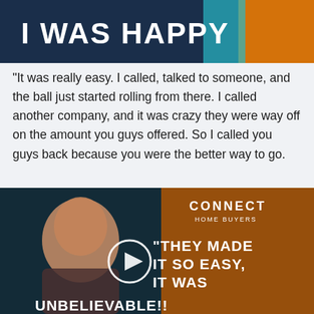[Figure (photo): Top banner image showing text 'I WAS HAPPY' with people in colorful jackets, dark blue background with orange accent, Connect Home Buyers branding]
“It was really easy. I called, talked to someone, and the ball just started rolling from there. I called another company, and it was crazy they were way off on the amount you guys offered. So I called you guys back because you were the better way to go.
[Figure (photo): Thumbnail of a video testimonial showing an older bald man, with overlay text 'THEY MADE IT SO EASY, IT WAS UNBELIEVABLE!!' and a play button circle, Connect Home Buyers logo in top right, dark teal and orange background]